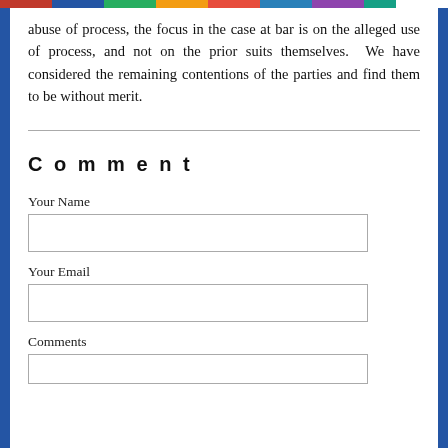abuse of process, the focus in the case at bar is on the alleged use of process, and not on the prior suits themselves. We have considered the remaining contentions of the parties and find them to be without merit.
Comment
Your Name
Your Email
Comments